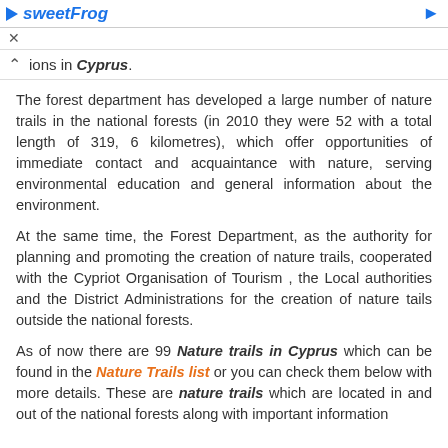sweetFrog
ions in Cyprus.
The forest department has developed a large number of nature trails in the national forests (in 2010 they were 52 with a total length of 319, 6 kilometres), which offer opportunities of immediate contact and acquaintance with nature, serving environmental education and general information about the environment.
At the same time, the Forest Department, as the authority for planning and promoting the creation of nature trails, cooperated with the Cypriot Organisation of Tourism , the Local authorities and the District Administrations for the creation of nature tails outside the national forests.
As of now there are 99 Nature trails in Cyprus which can be found in the Nature Trails list or you can check them below with more details. These are nature trails which are located in and out of the national forests along with important information